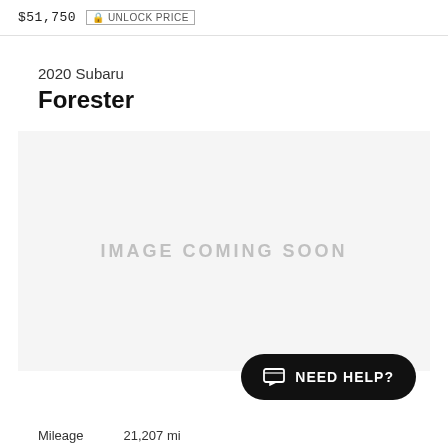$51,750  UNLOCK PRICE
2020 Subaru Forester
[Figure (photo): Image placeholder with text 'IMAGE COMING SOON' on light grey background for 2020 Subaru Forester listing]
NEED HELP?
Mileage  21,207 mi